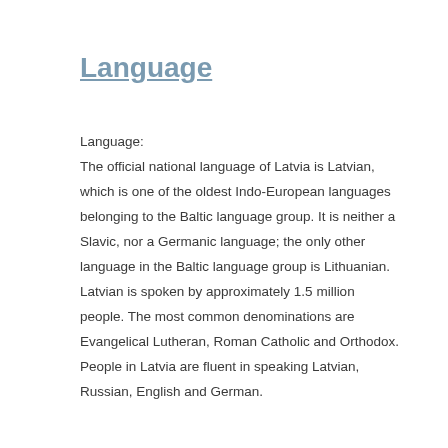Language
Language:
The official national language of Latvia is Latvian, which is one of the oldest Indo-European languages belonging to the Baltic language group. It is neither a Slavic, nor a Germanic language; the only other language in the Baltic language group is Lithuanian. Latvian is spoken by approximately 1.5 million people. The most common denominations are Evangelical Lutheran, Roman Catholic and Orthodox.
People in Latvia are fluent in speaking Latvian, Russian, English and German.